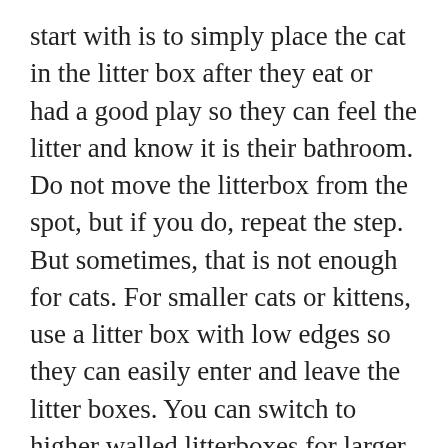start with is to simply place the cat in the litter box after they eat or had a good play so they can feel the litter and know it is their bathroom. Do not move the litterbox from the spot, but if you do, repeat the step. But sometimes, that is not enough for cats. For smaller cats or kittens, use a litter box with low edges so they can easily enter and leave the litter boxes. You can switch to higher walled litterboxes for larger cats but avoid litter boxes that are completely closed off as it can deter the cat from using them either from fear or because they are put off by the trapped odors of their own waste.
Litter is also an important factor as some cats